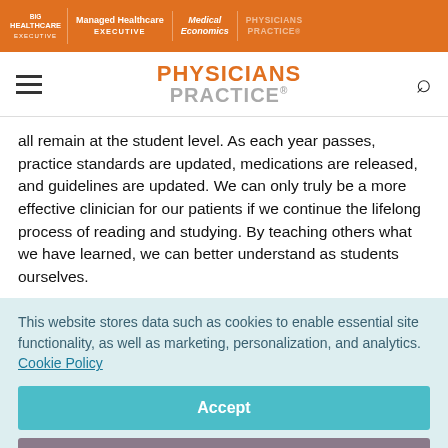HEALTHCARE EXECUTIVE | Managed Healthcare EXECUTIVE | Medical Economics | PHYSICIANS PRACTICE
[Figure (logo): Physicians Practice logo with hamburger menu and search icon]
all remain at the student level. As each year passes, practice standards are updated, medications are released, and guidelines are updated. We can only truly be a more effective clinician for our patients if we continue the lifelong process of reading and studying. By teaching others what we have learned, we can better understand as students ourselves.
This website stores data such as cookies to enable essential site functionality, as well as marketing, personalization, and analytics. Cookie Policy
Accept
Deny